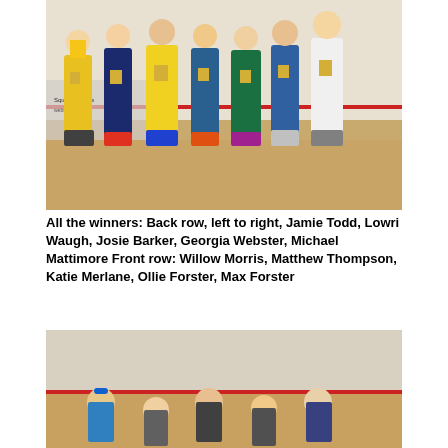[Figure (photo): Group photo of young squash winners holding trophies, standing in a squash court. Children wearing yellow, navy, and blue clothing.]
All the winners: Back row, left to right, Jamie Todd, Lowri Waugh, Josie Barker, Georgia Webster, Michael Mattimore Front row: Willow Morris, Matthew Thompson, Katie Merlane, Ollie Forster, Max Forster
[Figure (photo): Group photo of young squash players seated/standing in a squash court, partially visible at bottom of page.]